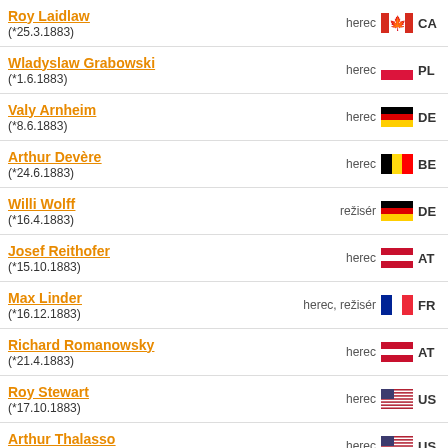Roy Laidlaw (*25.3.1883) herec CA
Wladyslaw Grabowski (*1.6.1883) herec PL
Valy Arnheim (*8.6.1883) herec DE
Arthur Devère (*24.6.1883) herec BE
Willi Wolff (*16.4.1883) režisér DE
Josef Reithofer (*15.10.1883) herec AT
Max Linder (*16.12.1883) herec, režisér FR
Richard Romanowsky (*21.4.1883) herec AT
Roy Stewart (*17.10.1883) herec US
Arthur Thalasso (*26.11.1883) herec US